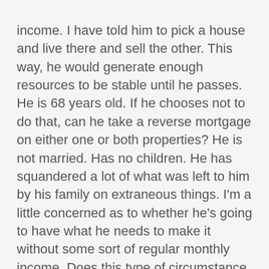income. I have told him to pick a house and live there and sell the other. This way, he would generate enough resources to be stable until he passes. He is 68 years old. If he chooses not to do that, can he take a reverse mortgage on either one or both properties? He is not married. Has no children. He has squandered a lot of what was left to him by his family on extraneous things. I'm a little concerned as to whether he's going to have what he needs to make it without some sort of regular monthly income. Does this type of circumstance generally qualify someone for a reverse mortgage? If so, what is best?